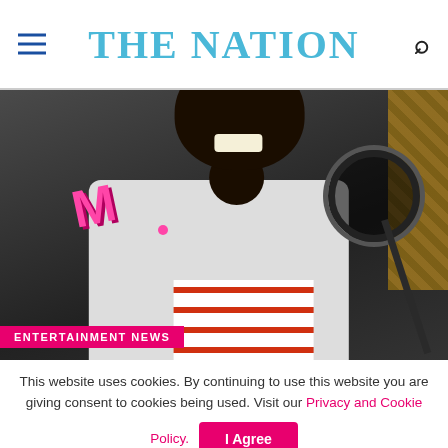THE NATION
[Figure (photo): A man singing or laughing in a recording studio, wearing headphones and a white blazer over a striped shirt, in front of a microphone with a pop filter. A pink stylized letter M logo is visible in the image overlay.]
ENTERTAINMENT NEWS
This website uses cookies. By continuing to use this website you are giving consent to cookies being used. Visit our Privacy and Cookie Policy.